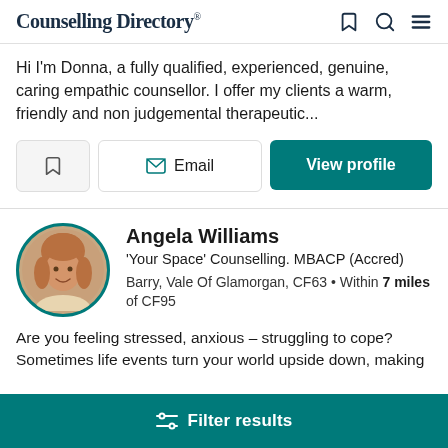Counselling Directory
Hi I'm Donna, a fully qualified, experienced, genuine, caring empathic counsellor. I offer my clients a warm, friendly and non judgemental therapeutic...
Angela Williams
'Your Space' Counselling. MBACP (Accred)
Barry, Vale Of Glamorgan, CF63 • Within 7 miles of CF95
Are you feeling stressed, anxious – struggling to cope? Sometimes life events turn your world upside down, making
Filter results